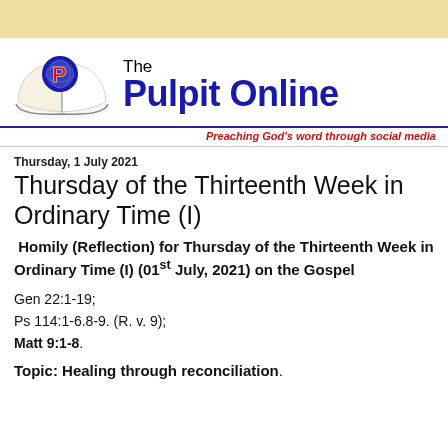[Figure (logo): The Pulpit Online logo with open Bible and 'P' emblem, tagline: Preaching God's word through social media]
Thursday, 1 July 2021
Thursday of the Thirteenth Week in Ordinary Time (I)
Homily (Reflection) for Thursday of the Thirteenth Week in Ordinary Time (I) (01st July, 2021) on the Gospel
Gen 22:1-19;
Ps 114:1-6.8-9. (R. v. 9);
Matt 9:1-8.
Topic: Healing through reconciliation.